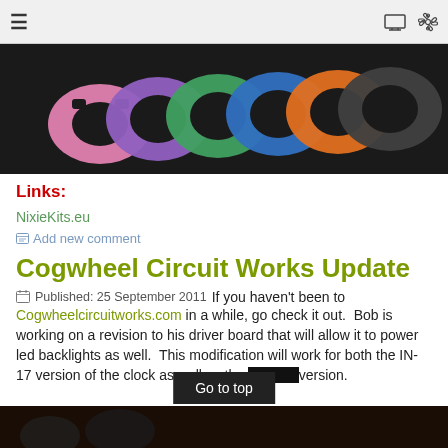≡ [hamburger menu] [monitor icon] [gear icon]
[Figure (photo): Colorful anodized aluminum cogwheel/gear-shaped clock face plates in pink, purple, green, blue, orange, and dark gray arranged in a fan on a dark background]
Links:
NixieKits.eu
Add new comment
Cogwheel Circuit Works Update
Published: 25 September 2011
If you haven't been to Cogwheelcircuitworks.com in a while, go check it out.  Bob is working on a revision to his driver board that will allow it to power led backlights as well.  This modification will work for both the IN-17 version of the clock as well as the [redacted] version.